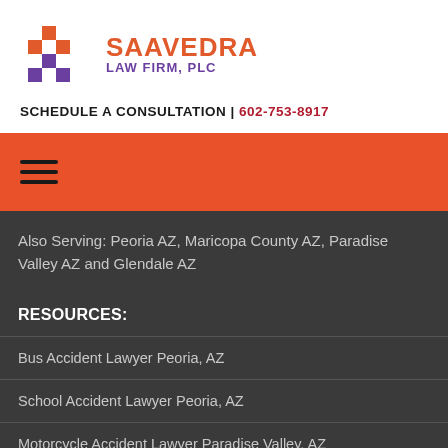[Figure (logo): Saavedra Law Firm, PLC logo with diamond-shaped icon in orange and purple]
SCHEDULE A CONSULTATION | 602-753-8917
[Figure (other): Orange navigation bar with hamburger menu icon]
Also Serving: Peoria AZ, Maricopa County AZ, Paradise Valley AZ and Glendale AZ
RESOURCES:
Bus Accident Lawyer Peoria, AZ
School Accident Lawyer Peoria, AZ
Motorcycle Accident Lawyer Paradise Valley, AZ
Car Accident Lawyer Maricopa County, Arizona